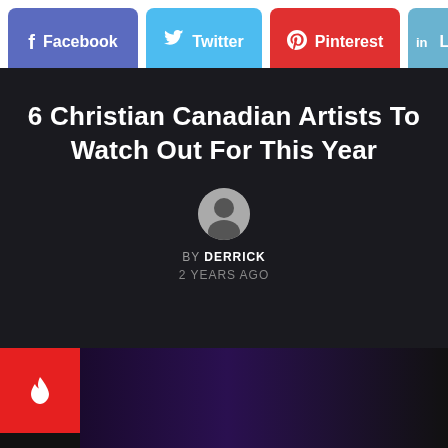[Figure (screenshot): Social media share buttons: Facebook (blue-purple), Twitter (light blue), Pinterest (red), LinkedIn (partial, light blue)]
6 Christian Canadian Artists To Watch Out For This Year
BY DERRICK
2 YEARS AGO
[Figure (photo): Dark concert/stage photo with a red flame badge icon on the left and purple stage lighting visible in the background]